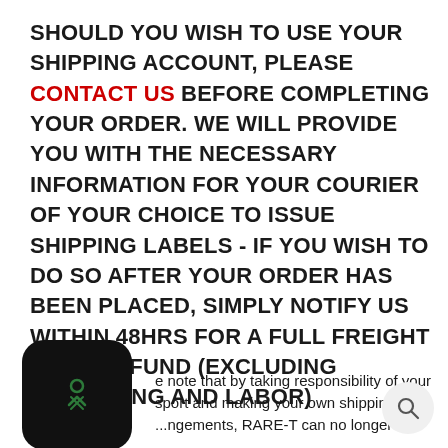SHOULD YOU WISH TO USE YOUR SHIPPING ACCOUNT, PLEASE CONTACT US BEFORE COMPLETING YOUR ORDER. WE WILL PROVIDE YOU WITH THE NECESSARY INFORMATION FOR YOUR COURIER OF YOUR CHOICE TO ISSUE SHIPPING LABELS - IF YOU WISH TO DO SO AFTER YOUR ORDER HAS BEEN PLACED, SIMPLY NOTIFY US WITHIN 48HRS FOR A FULL FREIGHT COST REFUND (EXCLUDING PACKAGING AND LABOR)
[Figure (logo): Black rounded-square app icon with a green X symbol]
e note that by taking responsibility of your sport and making your own shipping ...ngements, RARE-T can no longer be
[Figure (other): Circular search button icon]